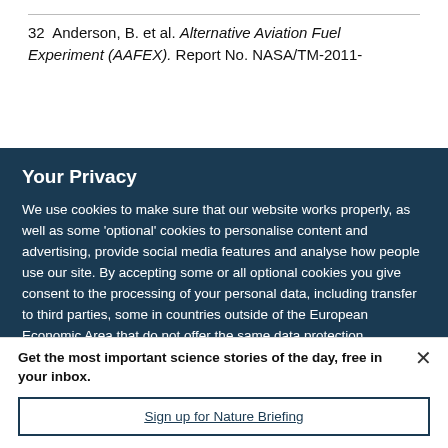32  Anderson, B. et al. Alternative Aviation Fuel Experiment (AAFEX). Report No. NASA/TM-2011-
Your Privacy
We use cookies to make sure that our website works properly, as well as some 'optional' cookies to personalise content and advertising, provide social media features and analyse how people use our site. By accepting some or all optional cookies you give consent to the processing of your personal data, including transfer to third parties, some in countries outside of the European Economic Area that do not offer the same data protection standards as the country where you live. You can decide which optional cookies to accept by clicking on 'Manage Settings', where you can
Get the most important science stories of the day, free in your inbox.
Sign up for Nature Briefing